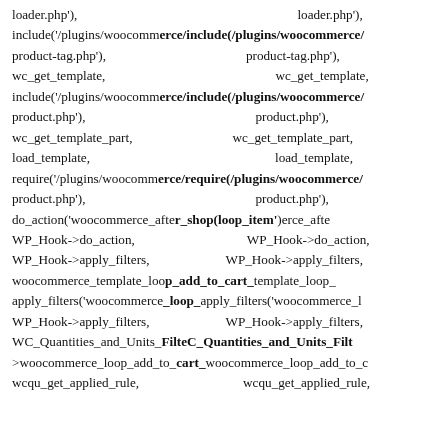loader.php'),                    loader.php'),
include('/plugins/woocommerce/include(/plugins/woocommerce/
product-tag.php'),               product-tag.php'),
wc_get_template,                 wc_get_template,
include('/plugins/woocommerce/include(/plugins/woocommerce/
product.php'),                   product.php'),
wc_get_template_part,            wc_get_template_part,
load_template,                   load_template,
require('/plugins/woocommerce/require(/plugins/woocommerce/
product.php'),                   product.php'),
do_action('woocommerce_after_shop(loop_item')erce_afte
WP_Hook->do_action,              WP_Hook->do_action,
WP_Hook->apply_filters,          WP_Hook->apply_filters,
woocommerce_template_loop_add_to_cart_template_loop_
apply_filters('woocommerce_loop_apply_filters('woocommerce_l
WP_Hook->apply_filters,          WP_Hook->apply_filters,
WC_Quantities_and_Units_FilteC_Quantities_and_Units_Filt
>woocommerce_loop_add_to_cart_woocommerce_loop_add_to_c
wcqu_get_applied_rule,           wcqu_get_applied_rule,